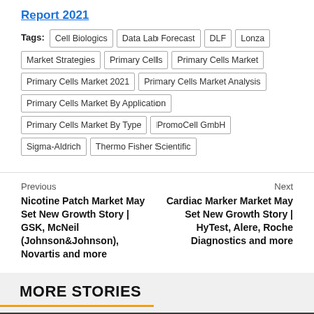Report 2021
Tags: Cell Biologics | Data Lab Forecast | DLF | Lonza | Market Strategies | Primary Cells | Primary Cells Market | Primary Cells Market 2021 | Primary Cells Market Analysis | Primary Cells Market By Application | Primary Cells Market By Type | PromoCell GmbH | Sigma-Aldrich | Thermo Fisher Scientific
Previous
Nicotine Patch Market May Set New Growth Story | GSK, McNeil (Johnson&Johnson), Novartis and more
Next
Cardiac Marker Market May Set New Growth Story | HyTest, Alere, Roche Diagnostics and more
MORE STORIES
[Figure (photo): Dark grey image area with a yellow/orange back-to-top button (chevron up arrow) in the top-right corner]